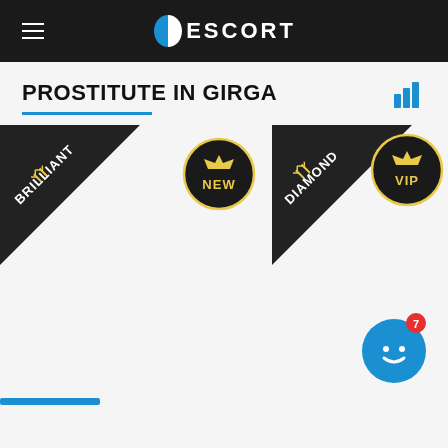ESCORT
PROSTITUTE IN GIRGA
[Figure (other): BRILLIANT badge ribbon (dark triangular corner badge with crown/antler icon and text 'BRILLIANT')]
[Figure (other): NEW circular badge (dark circle with gold crown and text 'NEW')]
[Figure (other): DIAMOND badge ribbon (dark triangular corner badge with crown/antler icon and text 'DIAMOND')]
[Figure (other): VIP circular badge (dark circle with gold crown and text 'VIP')]
[Figure (other): Chat bot widget (blue circle with smiley face icon and red notification badge showing 7)]